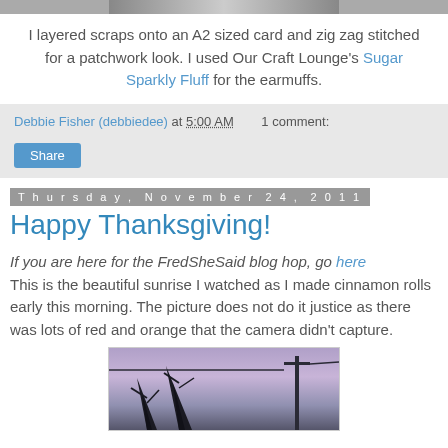[Figure (photo): Top partial image of a craft project (patchwork card)]
I layered scraps onto an A2 sized card and zig zag stitched for a patchwork look. I used Our Craft Lounge's Sugar Sparkly Fluff for the earmuffs.
Debbie Fisher (debbiedee) at 5:00 AM    1 comment:
Share
Thursday, November 24, 2011
Happy Thanksgiving!
If you are here for the FredSheSaid blog hop, go here
This is the beautiful sunrise I watched as I made cinnamon rolls early this morning. The picture does not do it justice as there was lots of red and orange that the camera didn't capture.
[Figure (photo): Sunrise photo showing bare trees and a utility pole against a purple-pink dawn sky]